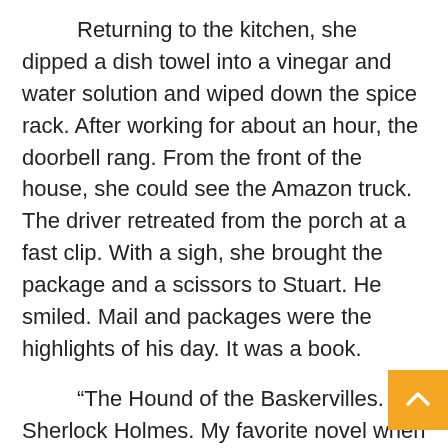Returning to the kitchen, she dipped a dish towel into a vinegar and water solution and wiped down the spice rack. After working for about an hour, the doorbell rang. From the front of the house, she could see the Amazon truck. The driver retreated from the porch at a fast clip. With a sigh, she brought the package and a scissors to Stuart. He smiled. Mail and packages were the highlights of his day. It was a book.
“The Hound of the Baskervilles. Sherlock Holmes. My favorite novel when I was a boy.” He beamed.
A colorful illustration, familiar to Francine, of the detective with his pipe and deerstalker hat, while a wolf-like dog howled in the background, flashed by on the jacket as Stuart turned the book over.